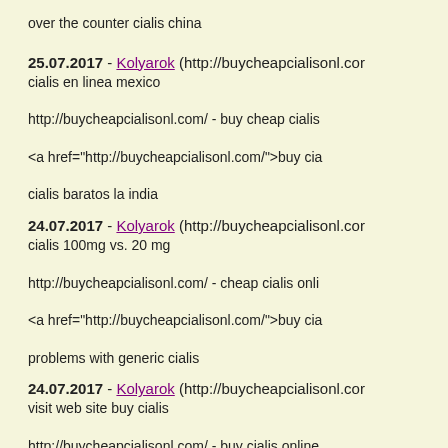over the counter cialis china
25.07.2017 - Kolyarok (http://buycheapcialisonl.com...
cialis en linea mexico
http://buycheapcialisonl.com/ - buy cheap cialis...
<a href="http://buycheapcialisonl.com/">buy cia...
cialis baratos la india
24.07.2017 - Kolyarok (http://buycheapcialisonl.com...
cialis 100mg vs. 20 mg
http://buycheapcialisonl.com/ - cheap cialis onli...
<a href="http://buycheapcialisonl.com/">buy cia...
problems with generic cialis
24.07.2017 - Kolyarok (http://buycheapcialisonl.com...
visit web site buy cialis
http://buycheapcialisonl.com/ - buy cialis online...
<a href="http://buycheapcialisonl.com/">onlin...